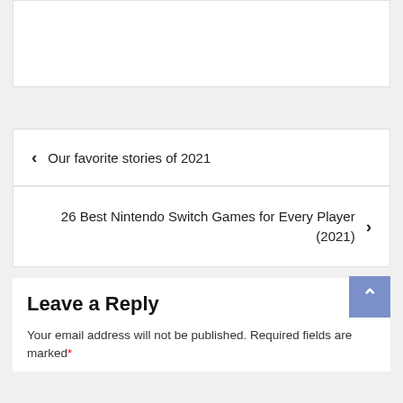[Figure (other): White card area at top, partially visible, cropped]
‹ Our favorite stories of 2021
26 Best Nintendo Switch Games for Every Player (2021) ›
Leave a Reply
Your email address will not be published. Required fields are marked *